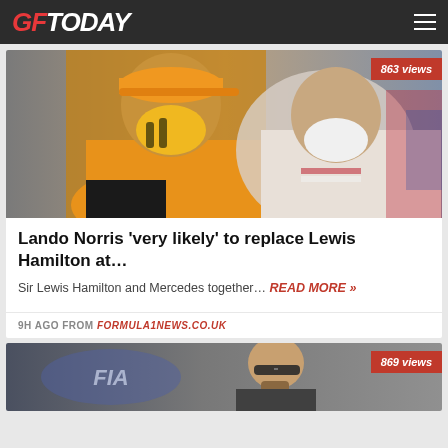GF Today
[Figure (photo): Two F1 drivers wearing face masks – one in orange McLaren gear (Lando Norris) and one in white (Lewis Hamilton). View count badge: 863 views.]
Lando Norris 'very likely' to replace Lewis Hamilton at…
Sir Lewis Hamilton and Mercedes together… READ MORE »
9H AGO FROM FORMULA1NEWS.CO.UK
[Figure (photo): Man in front of FIA logo backdrop, wearing sunglasses and talking on phone. View count badge: 869 views.]